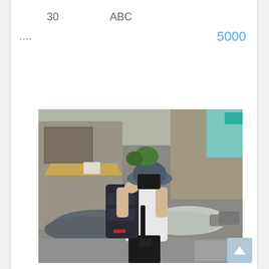30
ABC
....
5000
[Figure (photo): Person wearing a bucket hat and white t-shirt carrying a large dark backpack on a city street, with cars covered in grey tarps and urban buildings in the background.]